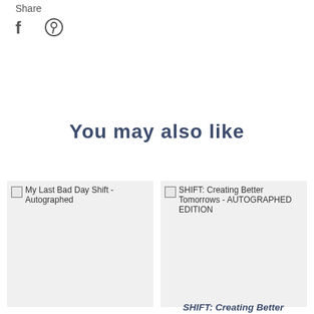Share
[Figure (other): Facebook and Pinterest social share icons]
You may also like
[Figure (other): Book cover placeholder: My Last Bad Day Shift - Autographed]
[Figure (other): Book cover placeholder: SHIFT: Creating Better Tomorrows - AUTOGRAPHED EDITION]
SHIFT: Creating Better